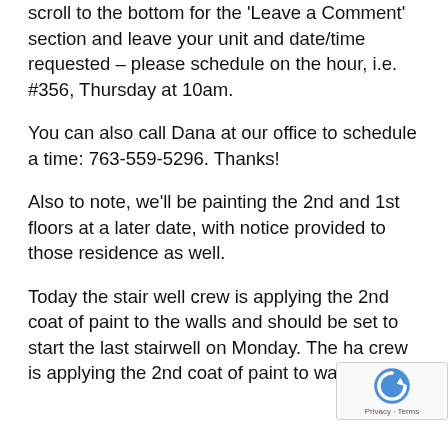scroll to the bottom for the 'Leave a Comment' section and leave your unit and date/time requested – please schedule on the hour, i.e. #356, Thursday at 10am.
You can also call Dana at our office to schedule a time: 763-559-5296. Thanks!
Also to note, we'll be painting the 2nd and 1st floors at a later date, with notice provided to those residence as well.
Today the stair well crew is applying the 2nd coat of paint to the walls and should be set to start the last stairwell on Monday. The ha crew is applying the 2nd coat of paint to walls